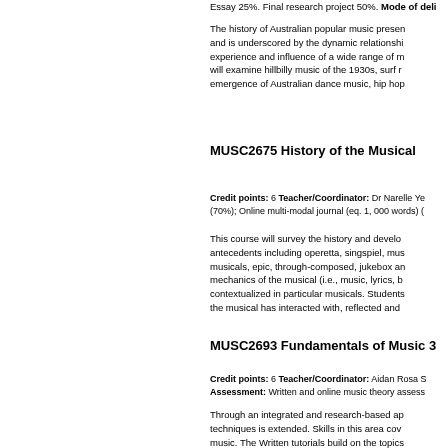Essay 25%. Final research project 50%. Mode of deli...
The history of Australian popular music presen... and is underscored by the dynamic relationshi... experience and influence of a wide range of m... will examine hillbilly music of the 1930s, surf r... emergence of Australian dance music, hip hop...
MUSC2675 History of the Musical
Credit points: 6 Teacher/Coordinator: Dr Narelle Ye... (70%); Online multi-modal journal (eq. 1, 000 words) (...
This course will survey the history and develo... antecedents including operetta, singspiel, mus... musicals, epic, through-composed, jukebox an... mechanics of the musical (i.e., music, lyrics, b... contextualized in particular musicals. Students... the musical has interacted with, reflected and ...
MUSC2693 Fundamentals of Music 3
Credit points: 6 Teacher/Coordinator: Aidan Rosa S... Assessment: Written and online music theory assess...
Through an integrated and research-based ap... techniques is extended. Skills in this area cov... music. The Written tutorials build on the topics...